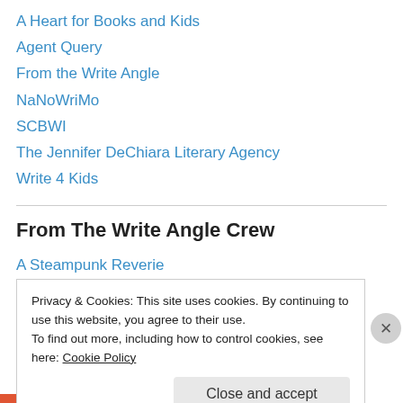A Heart for Books and Kids
Agent Query
From the Write Angle
NaNoWriMo
SCBWI
The Jennifer DeChiara Literary Agency
Write 4 Kids
From The Write Angle Crew
A Steampunk Reverie
Crossing the Helix
Dances with Blogs
Privacy & Cookies: This site uses cookies. By continuing to use this website, you agree to their use.
To find out more, including how to control cookies, see here: Cookie Policy
Close and accept